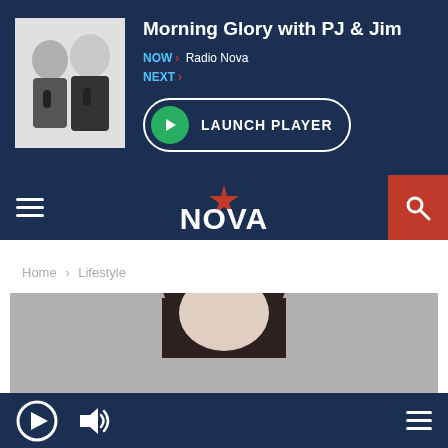[Figure (screenshot): Radio Nova website screenshot showing morning show banner with PJ and Jim hosts, NOVA logo navigation bar, breadcrumb navigation, and content area with a person's photo]
Morning Glory with PJ & Jim
NOW > Radio Nova
NEXT >
LAUNCH PLAYER
NOVA
Home > Lifestyle